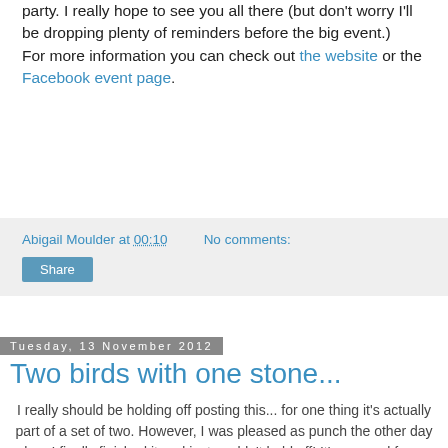party. I really hope to see you all there (but don't worry I'll be dropping plenty of reminders before the big event.) For more information you can check out the website or the Facebook event page.
Abigail Moulder at 00:10   No comments:
Share
Tuesday, 13 November 2012
Two birds with one stone...
I really should be holding off posting this... for one thing it's actually part of a set of two. However, I was pleased as punch the other day when I finally finished it and just couldn't hold off! It's unusual for me (in other words once in a blue moon) to be happy with my artwork or feel it looks how I imagined it. This was one of those rare occasions! (Although annoyingly my scanner was still playing up and made the colours slightly off... Updated! It's better but still not perfect!)